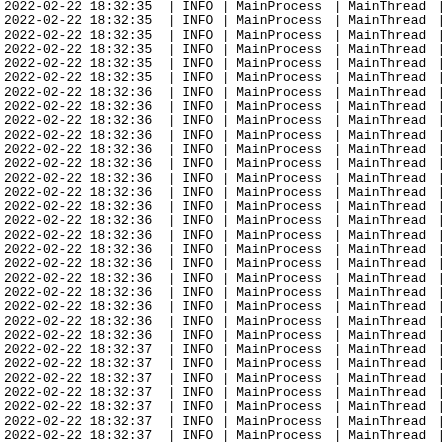| Timestamp | | | Level | | | Process | | | Thread | | |
| --- | --- | --- | --- | --- | --- | --- | --- |
| 2022-02-22 18:32:35 | | | INFO | | | MainProcess | | | MainThread | | |
| 2022-02-22 18:32:35 | | | INFO | | | MainProcess | | | MainThread | | |
| 2022-02-22 18:32:35 | | | INFO | | | MainProcess | | | MainThread | | |
| 2022-02-22 18:32:35 | | | INFO | | | MainProcess | | | MainThread | | |
| 2022-02-22 18:32:35 | | | INFO | | | MainProcess | | | MainThread | | |
| 2022-02-22 18:32:35 | | | INFO | | | MainProcess | | | MainThread | | |
| 2022-02-22 18:32:36 | | | INFO | | | MainProcess | | | MainThread | | |
| 2022-02-22 18:32:36 | | | INFO | | | MainProcess | | | MainThread | | |
| 2022-02-22 18:32:36 | | | INFO | | | MainProcess | | | MainThread | | |
| 2022-02-22 18:32:36 | | | INFO | | | MainProcess | | | MainThread | | |
| 2022-02-22 18:32:36 | | | INFO | | | MainProcess | | | MainThread | | |
| 2022-02-22 18:32:36 | | | INFO | | | MainProcess | | | MainThread | | |
| 2022-02-22 18:32:36 | | | INFO | | | MainProcess | | | MainThread | | |
| 2022-02-22 18:32:36 | | | INFO | | | MainProcess | | | MainThread | | |
| 2022-02-22 18:32:36 | | | INFO | | | MainProcess | | | MainThread | | |
| 2022-02-22 18:32:36 | | | INFO | | | MainProcess | | | MainThread | | |
| 2022-02-22 18:32:36 | | | INFO | | | MainProcess | | | MainThread | | |
| 2022-02-22 18:32:36 | | | INFO | | | MainProcess | | | MainThread | | |
| 2022-02-22 18:32:36 | | | INFO | | | MainProcess | | | MainThread | | |
| 2022-02-22 18:32:36 | | | INFO | | | MainProcess | | | MainThread | | |
| 2022-02-22 18:32:36 | | | INFO | | | MainProcess | | | MainThread | | |
| 2022-02-22 18:32:36 | | | INFO | | | MainProcess | | | MainThread | | |
| 2022-02-22 18:32:36 | | | INFO | | | MainProcess | | | MainThread | | |
| 2022-02-22 18:32:36 | | | INFO | | | MainProcess | | | MainThread | | |
| 2022-02-22 18:32:37 | | | INFO | | | MainProcess | | | MainThread | | |
| 2022-02-22 18:32:37 | | | INFO | | | MainProcess | | | MainThread | | |
| 2022-02-22 18:32:37 | | | INFO | | | MainProcess | | | MainThread | | |
| 2022-02-22 18:32:37 | | | INFO | | | MainProcess | | | MainThread | | |
| 2022-02-22 18:32:37 | | | INFO | | | MainProcess | | | MainThread | | |
| 2022-02-22 18:32:37 | | | INFO | | | MainProcess | | | MainThread | | |
| 2022-02-22 18:32:37 | | | INFO | | | MainProcess | | | MainThread | | |